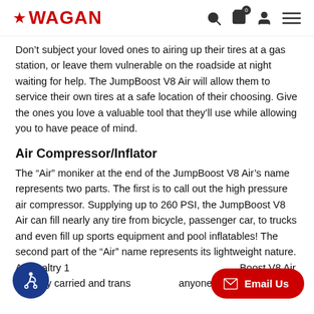WAGAN
Don’t subject your loved ones to airing up their tires at a gas station, or leave them vulnerable on the roadside at night waiting for help. The JumpBoost V8 Air will allow them to service their own tires at a safe location of their choosing. Give the ones you love a valuable tool that they’ll use while allowing you to have peace of mind.
Air Compressor/Inflator
The “Air” moniker at the end of the JumpBoost V8 Air’s name represents two parts. The first is to call out the high pressure air compressor. Supplying up to 260 PSI, the JumpBoost V8 Air can fill nearly any tire from bicycle, passenger car, to trucks and even fill up sports equipment and pool inflatables! The second part of the “Air” name represents its lightweight nature. At a paltry 1__ Boost V8 Air is easily carried and trans___ anyone in any situation.